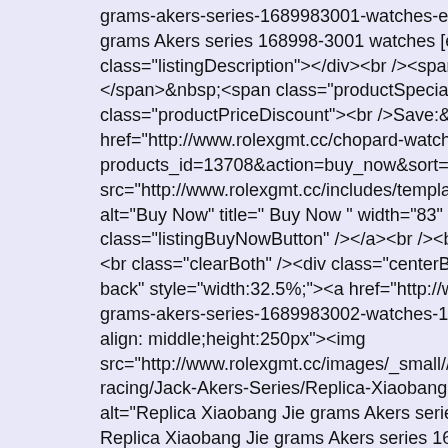grams-akers-series-1689983001-watches-e2db-p-13708.html"> grams Akers series 168998-3001 watches [e2db]</a></h3><div class="listingDescription"></div><br /><span class="normalpr </span>&nbsp;<span class="productSpecialPrice">$221.00</sp class="productPriceDiscount"><br />Save:&nbsp;100% off</sp href="http://www.rolexgmt.cc/chopard-watches-c-96.html? products_id=13708&action=buy_now&sort=20a&page=39"><i src="http://www.rolexgmt.cc/includes/templates/polo/buttons/e alt="Buy Now" title=" Buy Now " width="83" height="22" class="listingBuyNowButton" /></a><br /><br /></div> <br class="clearBoth" /><div class="centerBoxContentsProdu back" style="width:32.5%;"><a href="http://www.rolexgmt.cc/ grams-akers-series-1689983002-watches-1305-p-20211.html"> align: middle;height:250px"><img src="http://www.rolexgmt.cc/images/_small//xwatches_/Chopar racing/Jack-Akers-Series/Replica-Xiaobang-Jie-grams-Akers-se alt="Replica Xiaobang Jie grams Akers series 168998-3002 wat Replica Xiaobang Jie grams Akers series 168998-3002 watches width="167" height="250" class="listingProductImage" id="lis <br /><h3 class="itemTitle"><a href="http://www.rolexgmt.cc/ grams-akers-series-1689983002-watches-1305-p-20211.html"> grams Akers series 168998-3002 watches [1305]</a></h3><div class="listingDescription"></div><br /><span class="normalpr </span>&nbsp;<span class="productSpecialPrice">$211.00</sp class="productPriceDiscount"><br />Save:&nbsp;100% off</sp